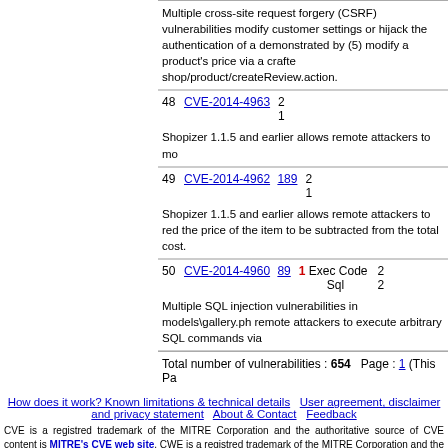Multiple cross-site request forgery (CSRF) vulnerabilities modify customer settings or hijack the authentication of a demonstrated by (5) modify a product's price via a craft shop/product/createReview.action.
| # | CVE | Meta | Date |
| --- | --- | --- | --- |
| 48 | CVE-2014-4963 |  | 2... |
| 49 | CVE-2014-4962 189 |  | 2... |
| 50 | CVE-2014-4960 89 | 1 Exec Code Sql | 2... |
Shopizer 1.1.5 and earlier allows remote attackers to mo
Shopizer 1.1.5 and earlier allows remote attackers to red the price of the item to be subtracted from the total cost.
Multiple SQL injection vulnerabilities in models\gallery.ph remote attackers to execute arbitrary SQL commands via
Total number of vulnerabilities : 654  Page : 1 (This Pa
How does it work? Known limitations & technical details  User agreement, disclaimer and privacy statement  About & Contact  Feedback
CVE is a registred trademark of the MITRE Corporation and the authoritative source of CVE content is MITRE's CVE web site. CWE is a registred trademark of the MITRE Corporation and the authoritative source of CWE content is MITRE's CWE web site. OVAL is a registered trademark of The MITRE Corporation and the authoritative source of OVAL content is MITRE's OVAL web site. Use of this information constitutes acceptance for use in an AS IS condition. There are NO warranties, implied or otherwise, with regard to this information or its use. Any use of this information is at the users risk. It is the